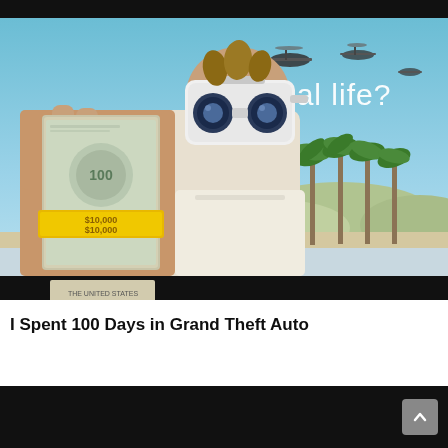[Figure (screenshot): YouTube video thumbnail showing a young man wearing a VR headset and holding a large stack of $100 bills banded with a '$10,000' band, standing outdoors with palm trees, mountains, military helicopters in the sky, and the text 'real life?' in white. The thumbnail has black bars at top and bottom.]
I Spent 100 Days in Grand Theft Auto
[Figure (screenshot): Bottom portion of the page showing a dark/black area (next video preview) with a grey scroll-up arrow button in the lower right corner.]